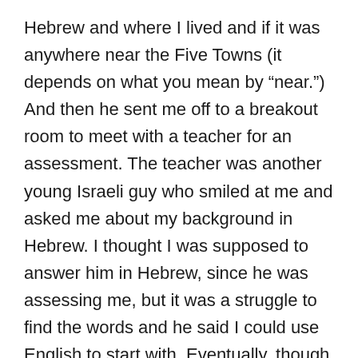Hebrew and where I lived and if it was anywhere near the Five Towns (it depends on what you mean by “near.”) And then he sent me off to a breakout room to meet with a teacher for an assessment. The teacher was another young Israeli guy who smiled at me and asked me about my background in Hebrew. I thought I was supposed to answer him in Hebrew, since he was assessing me, but it was a struggle to find the words and he said I could use English to start with. Eventually, though, he started asking me to translate things, and answer questions in Hebrew, and then he had me repeating phrases in rapid fire scripted conversations. When I had trouble hearing him a few times early on we both assumed that the problem was coming from his computer, and he was apologetic and tried everything he could think of to fix the problem. Some things seemed to help for a short period of time, but then